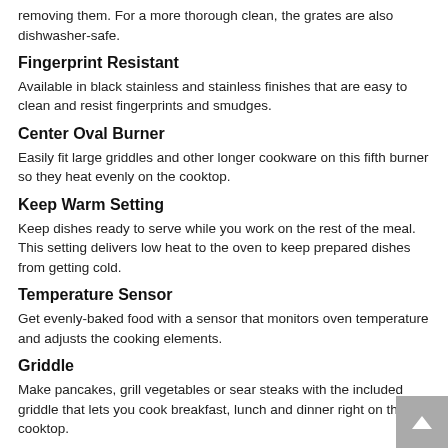removing them. For a more thorough clean, the grates are also dishwasher-safe.
Fingerprint Resistant
Available in black stainless and stainless finishes that are easy to clean and resist fingerprints and smudges.
Center Oval Burner
Easily fit large griddles and other longer cookware on this fifth burner so they heat evenly on the cooktop.
Keep Warm Setting
Keep dishes ready to serve while you work on the rest of the meal. This setting delivers low heat to the oven to keep prepared dishes from getting cold.
Temperature Sensor
Get evenly-baked food with a sensor that monitors oven temperature and adjusts the cooking elements.
Griddle
Make pancakes, grill vegetables or sear steaks with the included griddle that lets you cook breakfast, lunch and dinner right on the cooktop.